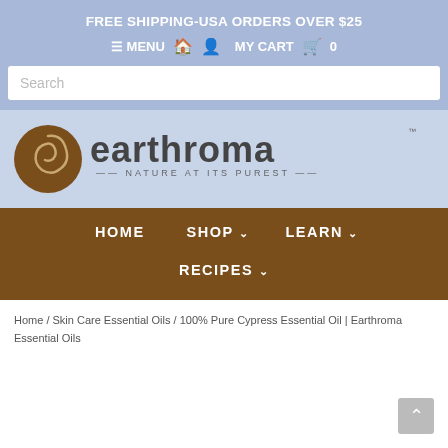FREE SHIPPING-USA ORDERS OVER $25
≡ MENU  🏠  👤  MY CART  🛒  0
Search
[Figure (logo): Earthroma logo with brown spiral icon and text 'earthroma NATURE AT ITS PUREST']
HOME   SHOP ∨   LEARN ∨   RECIPES ∨
Home / Skin Care Essential Oils / 100% Pure Cypress Essential Oil | Earthroma Essential Oils